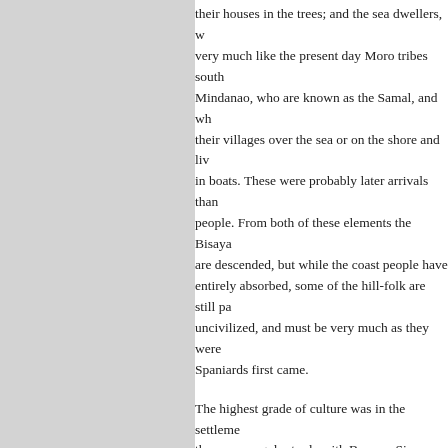their houses in the trees; and the sea dwellers, w very much like the present day Moro tribes south Mindanao, who are known as the Samal, and wh their villages over the sea or on the shore and liv in boats. These were probably later arrivals than people. From both of these elements the Bisaya are descended, but while the coast people have entirely absorbed, some of the hill-folk are still pa uncivilized, and must be very much as they were Spaniards first came.
The highest grade of culture was in the settleme there was regular trade with Borneo, Siam, and C especially about Manila, where many Mohameda had colonized.
Languages of the Malayan Peoples – With the of the Negrito, all the languages of the Philippine